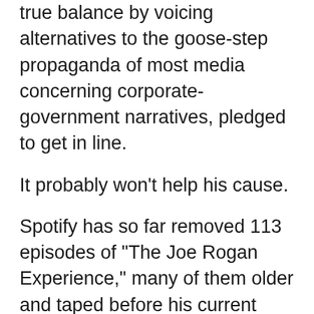true balance by voicing alternatives to the goose-step propaganda of most media concerning corporate-government narratives, pledged to get in line.
It probably won’t help his cause.
Spotify has so far removed 113 episodes of "The Joe Rogan Experience," many of them older and taped before his current COVID-19 issue, according to JREMissing, a website that tracks the podcast.
Among the missing episodes are ones featuring well-known conservatives, and ones authorities like to smear and label as “far-right” and “conspiracy theorists,” such as Proud Boys founder Gavin McInnes, Michael Malice, Alex Jones, and Milo Yiannopoulos.